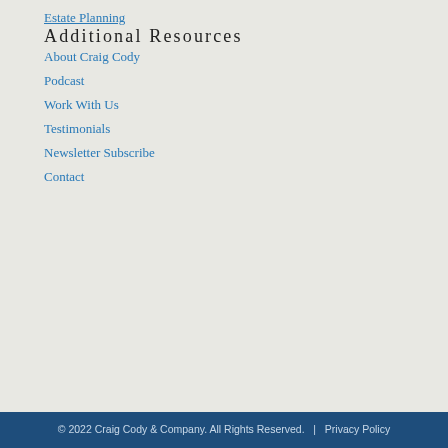Estate Planning
Additional Resources
About Craig Cody
Podcast
Work With Us
Testimonials
Newsletter Subscribe
Contact
© 2022 Craig Cody & Company. All Rights Reserved.  |  Privacy Policy